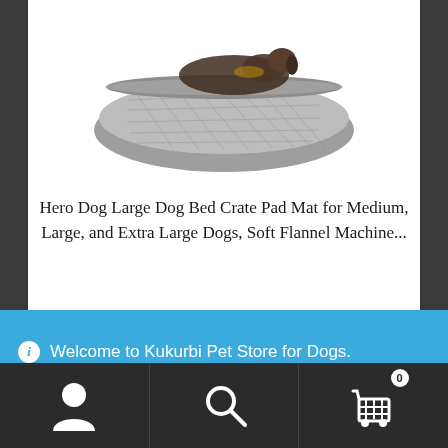[Figure (photo): Dog lying on a gray quilted/padded dog bed mat. The bed is gray with a diamond quilt pattern and rolled bolster edges.]
Hero Dog Large Dog Bed Crate Pad Mat for Medium, Large, and Extra Large Dogs, Soft Flannel Machine...
Details)  Order Now
Welcome to Kukurbi Pet Store for Dogs. Dismiss